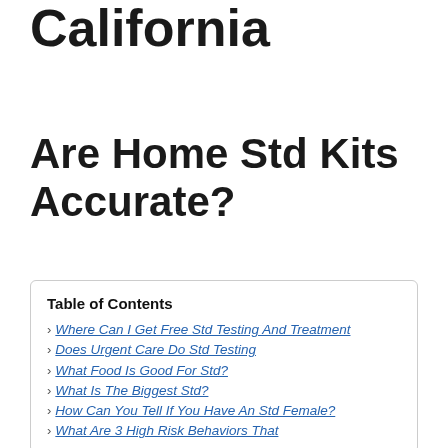California
Are Home Std Kits Accurate?
| Table of Contents |
| --- |
| Where Can I Get Free Std Testing And Treatment |
| Does Urgent Care Do Std Testing |
| What Food Is Good For Std? |
| What Is The Biggest Std? |
| How Can You Tell If You Have An Std Female? |
| What Are 3 High Risk Behaviors That |